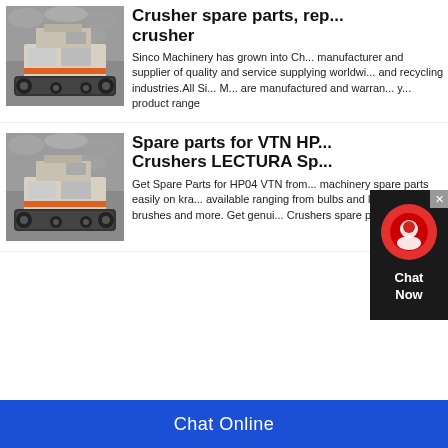[Figure (photo): Photo of a tracked jaw crusher machine on rocky ground, viewed from the side]
Crusher spare parts, rep... crusher
Sinco Machinery has grown into Ch... manufacturer and supplier of quality and service supplying worldwi... and recycling industries.All Si... M... are manufactured and warran... y... product range
[Figure (photo): Photo of the same tracked jaw crusher machine on rocky ground]
Spare parts for VTN HP... Crushers LECTURA Sp...
Get Spare Parts for HP04 VTN from... machinery spare parts easily on kra... available ranging from bulbs and lig... motor brushes and more. Get genui... Crushers spare parts
Chat Online